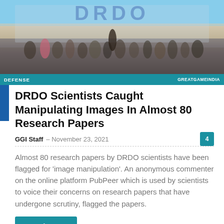[Figure (photo): Crowd of people in front of a large DRDO building/bus with DRDO signage, outdoor scene with people walking]
DEFENSE    GREATGAMEINDIA
DRDO Scientists Caught Manipulating Images In Almost 80 Research Papers
GGI Staff  –  November 23, 2021  4
Almost 80 research papers by DRDO scientists have been flagged for 'image manipulation'. An anonymous commenter on the online platform PubPeer which is used by scientists to voice their concerns on research papers that have undergone scrutiny, flagged the papers.
Read more